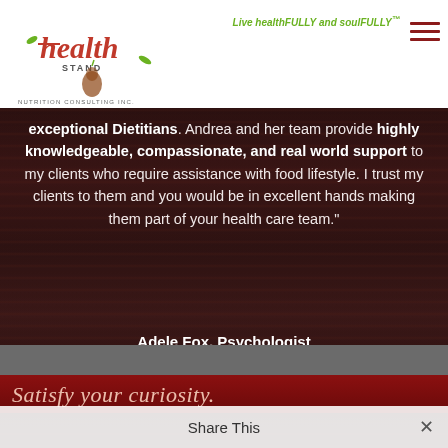[Figure (logo): Health Stand Nutrition Consulting Inc. logo with stylized text and fruit/leaf graphic]
Live healthFULLY and soulFULLY™
exceptional Dietitians. Andrea and her team provide highly knowledgeable, compassionate, and real world support to my clients who require assistance with food lifestyle. I trust my clients to them and you would be in excellent hands making them part of your health care team."
Adele Fox, Psychologist
Satisfy your curiosity.
Share This